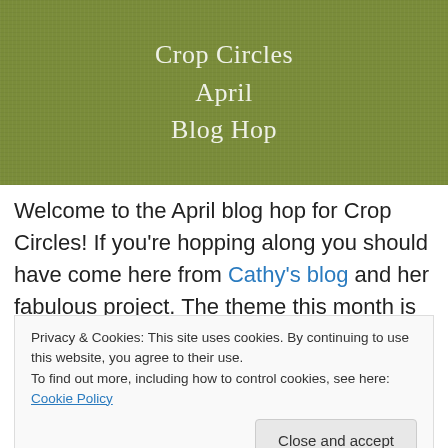[Figure (illustration): Olive/khaki green textured banner with white text reading 'Crop Circles April Blog Hop']
Welcome to the April blog hop for Crop Circles! If you're hopping along you should have come here from Cathy's blog and her fabulous project. The theme this month is Spring — just right to get us all in the mood for warmer
Privacy & Cookies: This site uses cookies. By continuing to use this website, you agree to their use.
To find out more, including how to control cookies, see here: Cookie Policy